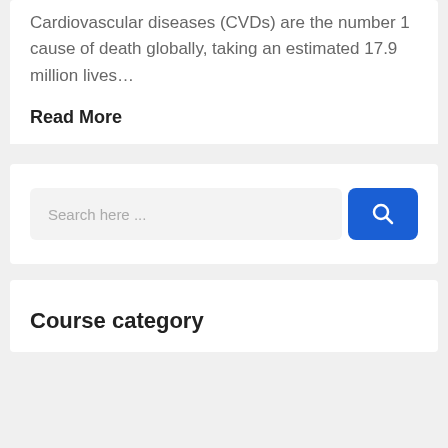Cardiovascular diseases (CVDs) are the number 1 cause of death globally, taking an estimated 17.9 million lives…
Read More
[Figure (screenshot): Search bar with blue search button containing a magnifying glass icon]
Course category